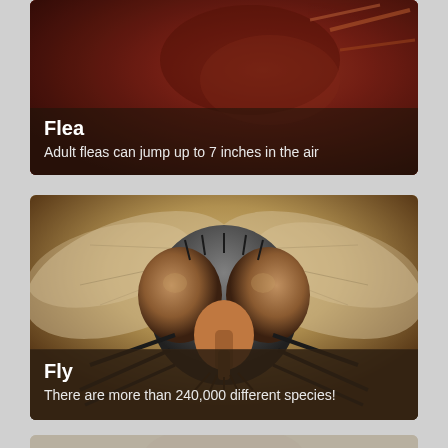[Figure (photo): Close-up macro photo of a flea on a reddish-brown surface]
Flea
Adult fleas can jump up to 7 inches in the air
[Figure (photo): Close-up macro photo of a fly face-on, showing large compound eyes, wings spread, dark legs visible against tan/beige background]
Fly
There are more than 240,000 different species!
[Figure (photo): Partial view of another insect card at the bottom, partially cut off]